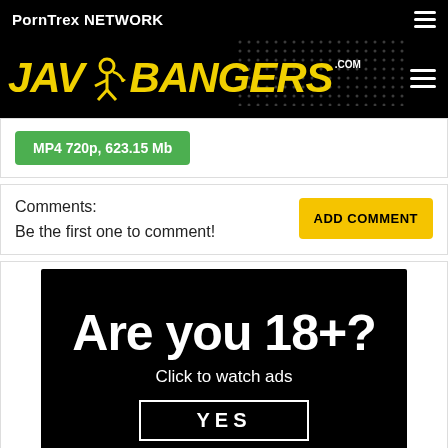PornTrex NETWORK
[Figure (logo): JAV BANGERS .COM logo in yellow italic bold text on black background with dotted pattern]
MP4 720p, 623.15 Mb
Comments:
Be the first one to comment!
ADD COMMENT
[Figure (infographic): Age verification ad on black background: 'Are you 18+? Click to watch ads' with YES button]